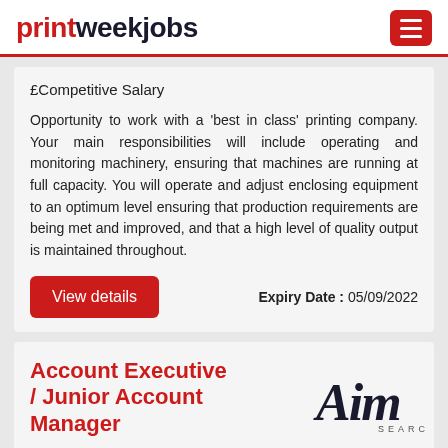printweekjobs
£Competitive Salary
Opportunity to work with a 'best in class' printing company. Your main responsibilities will include operating and monitoring machinery, ensuring that machines are running at full capacity. You will operate and adjust enclosing equipment to an optimum level ensuring that production requirements are being met and improved, and that a high level of quality output is maintained throughout.
Expiry Date : 05/09/2022
View details
Account Executive / Junior Account Manager
[Figure (logo): Aim Search company logo in stylized script]